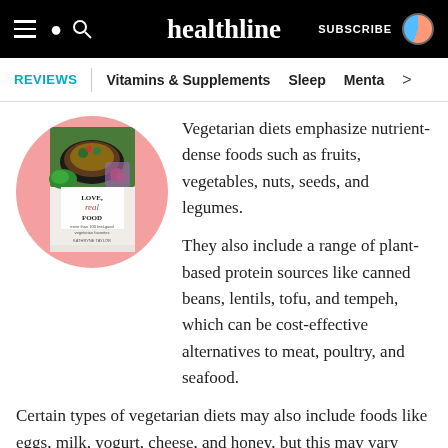healthline — SUBSCRIBE
REVIEWS | Vitamins & Supplements   Sleep   Menta >
[Figure (photo): Book cover 'Love Real Food' shown inside a pink circle, with food photography on cover]
Vegetarian diets emphasize nutrient-dense foods such as fruits, vegetables, nuts, seeds, and legumes.
They also include a range of plant-based protein sources like canned beans, lentils, tofu, and tempeh, which can be cost-effective alternatives to meat, poultry, and seafood.
Certain types of vegetarian diets may also include foods like eggs, milk, yogurt, cheese, and honey, but this may vary depending on your personal needs and